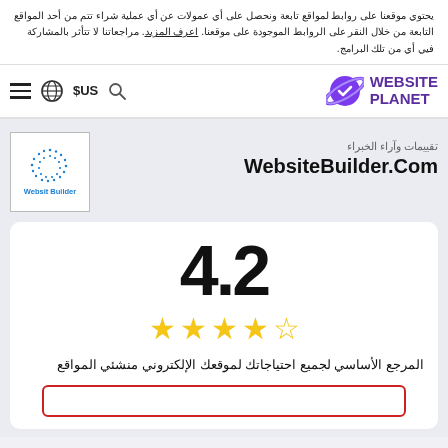يحتوي موقعنا على روابط لمواقع تابعة ونحصل على أي عمولات عن أي عملية شراء تتم من أحد المواقع التابعة من خلال النقر على الروابط الموجودة على موقعنا. اعرف المزيد. مراجعاتنا لا تتأثر بالمشاركة فيي أي من تلك البرامج.
[Figure (logo): Website Planet logo with planet icon and purple text]
تقييمات وآراء الخبراء
WebsiteBuilder.Com
[Figure (logo): WebsiteBuilder.com logo in a bordered box with blue dot pattern globe and blue text]
4.2
★★★★☆ (4.2 out of 5 stars, one empty star on left)
المرجع الأساسي لجميع احتياجاتك لموقعك الإلكتروني منشئي المواقع